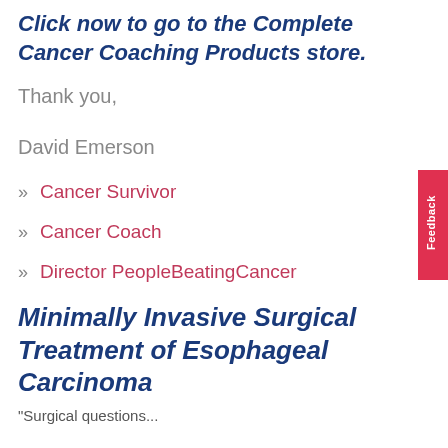Click now to go to the Complete Cancer Coaching Products store.
Thank you,
David Emerson
» Cancer Survivor
» Cancer Coach
» Director PeopleBeatingCancer
Minimally Invasive Surgical Treatment of Esophageal Carcinoma
“Surgical questions...